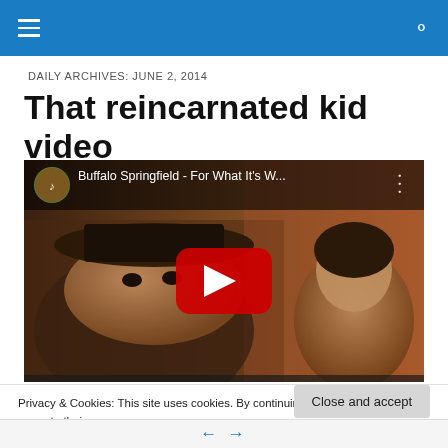DAILY ARCHIVES: JUNE 2, 2014
That reincarnated kid video
[Figure (screenshot): Embedded YouTube video thumbnail showing Buffalo Springfield - For What It's W... with a play button overlay and two musicians visible]
Privacy & Cookies: This site uses cookies. By continuing to use this website, you agree to their use.
To find out more, including how to control cookies, see here: Cookie Policy
Close and accept